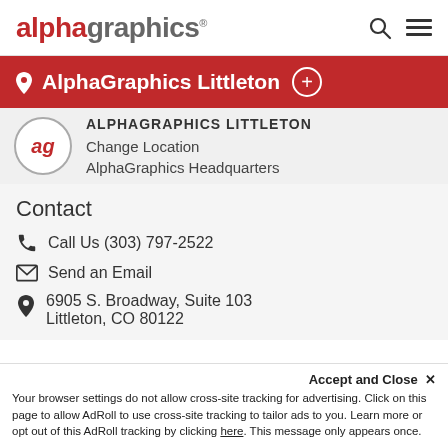[Figure (logo): AlphaGraphics logo with red 'alpha' and grey 'graphics' text]
AlphaGraphics Littleton
ALPHAGRAPHICS LITTLETON
Change Location
AlphaGraphics Headquarters
Contact
Call Us (303) 797-2522
Send an Email
6905 S. Broadway, Suite 103
Littleton, CO 80122
Accept and Close ✕
Your browser settings do not allow cross-site tracking for advertising. Click on this page to allow AdRoll to use cross-site tracking to tailor ads to you. Learn more or opt out of this AdRoll tracking by clicking here. This message only appears once.